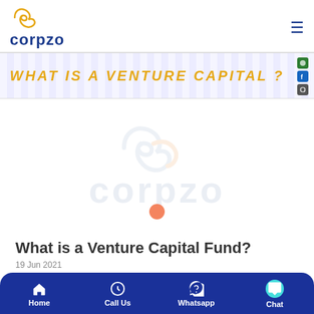[Figure (logo): Corpzo logo with stylized C icon and blue text]
[Figure (illustration): Banner strip with text WHAT IS A VENTURE CAPITAL? on checkered background with social icons]
[Figure (logo): Corpzo watermark logo in light blue/gray, large, centered on white background with orange dot indicator]
What is a Venture Capital Fund?
19 Jun 2021
[Figure (infographic): Bottom navigation bar with Home, Call Us, Whatsapp, Chat buttons on dark blue background]